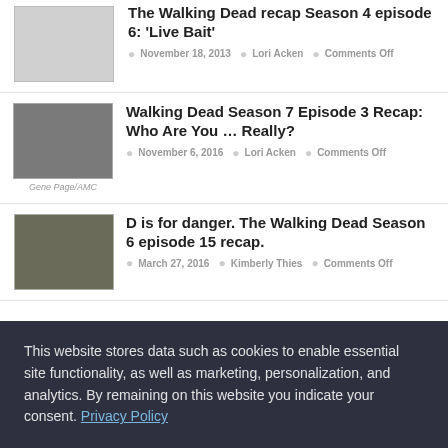[Figure (photo): Thumbnail placeholder image for Walking Dead Season 4 episode 6 article]
The Walking Dead recap Season 4 episode 6: 'Live Bait'
November 18, 2013  Lori Acken  Comments Off
[Figure (photo): Man on motorcycle, Gene Page/AMC photo for Walking Dead Season 7 Episode 3]
Gene Page/AMC
Walking Dead Season 7 Episode 3 Recap: Who Are You … Really?
November 6, 2016  Lori Acken  Comments Off
[Figure (photo): Man with long hair, photo for Walking Dead Season 6 episode 15 article]
D is for danger. The Walking Dead Season 6 episode 15 recap.
March 27, 2016  Kimberly Thies  Comments Off
This website stores data such as cookies to enable essential site functionality, as well as marketing, personalization, and analytics. By remaining on this website you indicate your consent. Privacy Policy